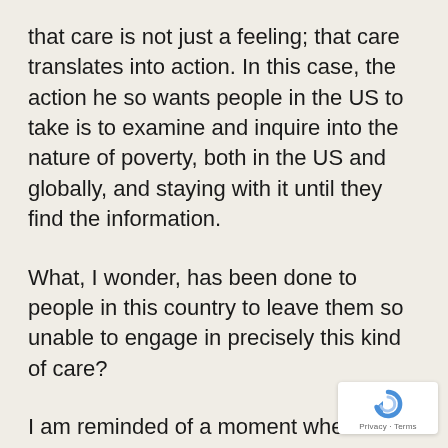that care is not just a feeling; that care translates into action. In this case, the action he so wants people in the US to take is to examine and inquire into the nature of poverty, both in the US and globally, and staying with it until they find the information.
What, I wonder, has been done to people in this country to leave them so unable to engage in precisely this kind of care?
I am reminded of a moment when I was involved with homeless activism in Berkeley in the late 1980s. One night I was called to witness a particularly painful event of the police
[Figure (logo): Google reCAPTCHA badge with spinning arrow logo and 'Privacy - Terms' text]